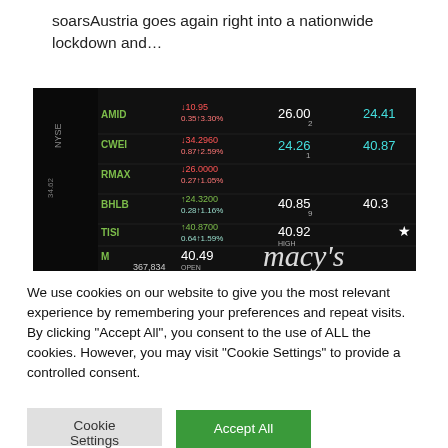soarsAustria goes again right into a nationwide lockdown and…
[Figure (photo): Stock market ticker board showing various stock symbols (AMID, CWEI, RMAX, BHLB, TISI, M) with prices and percentage changes on a dark display screen. Macy's logo visible in lower right.]
We use cookies on our website to give you the most relevant experience by remembering your preferences and repeat visits. By clicking "Accept All", you consent to the use of ALL the cookies. However, you may visit "Cookie Settings" to provide a controlled consent.
Cookie Settings
Accept All